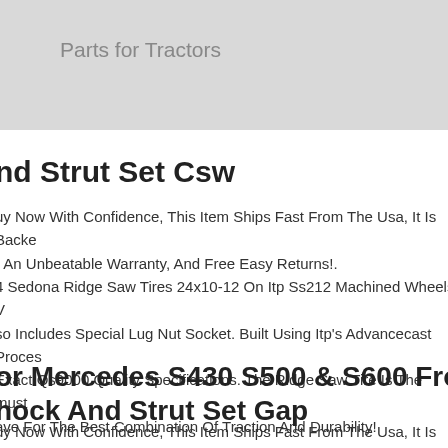Parts for Tractors
nd Strut Set Csw
uy Now With Confidence, This Item Ships Fast From The Usa, It Is Backed r An Unbeatable Warranty, And Free Easy Returns!.
4 Sedona Ridge Saw Tires 24x10-12 On Itp Ss212 Machined Wheels V so Includes Special Lug Nut Socket. Built Using Itp's Advancecast Proces Exact Qs9000 Quality Specifications. The Ridge Saw Tire Is The must ave For The Best Combination Of Traction And Durability!
or Mercedes S430 S500 & S600 Front Rear hock And Strut Set Gap
uy Now With Confidence, This Item Ships Fast From The Usa, It Is Backed r An Unbeatable Warranty, And Free Easy Returns!.